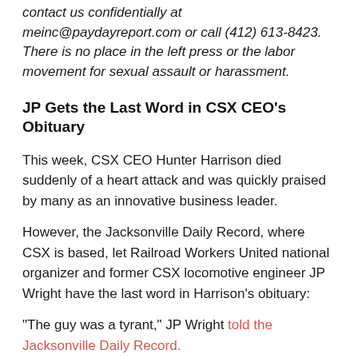contact us confidentially at meinc@paydayreport.com or call (412) 613-8423. There is no place in the left press or the labor movement for sexual assault or harassment.
JP Gets the Last Word in CSX CEO's Obituary
This week, CSX CEO Hunter Harrison died suddenly of a heart attack and was quickly praised by many as an innovative business leader.
However, the Jacksonville Daily Record, where CSX is based, let Railroad Workers United national organizer and former CSX locomotive engineer JP Wright have the last word in Harrison's obituary:
“The guy was a tyrant,” JP Wright told the Jacksonville Daily Record.
Fired University of North Carolina Civil Rights Center Open Their Own Group